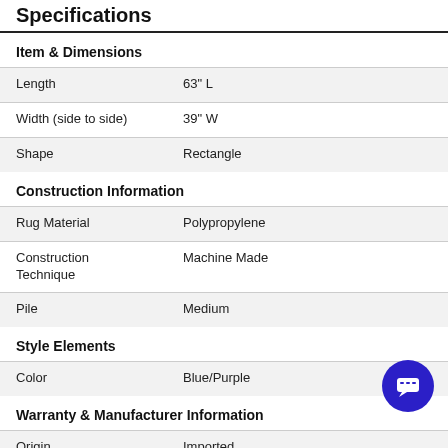Specifications
Item & Dimensions
|  |  |
| --- | --- |
| Length | 63" L |
| Width (side to side) | 39" W |
| Shape | Rectangle |
Construction Information
|  |  |
| --- | --- |
| Rug Material | Polypropylene |
| Construction Technique | Machine Made |
| Pile | Medium |
Style Elements
|  |  |
| --- | --- |
| Color | Blue/Purple |
Warranty & Manufacturer Information
|  |  |
| --- | --- |
| Origin | Imported |
Shipping